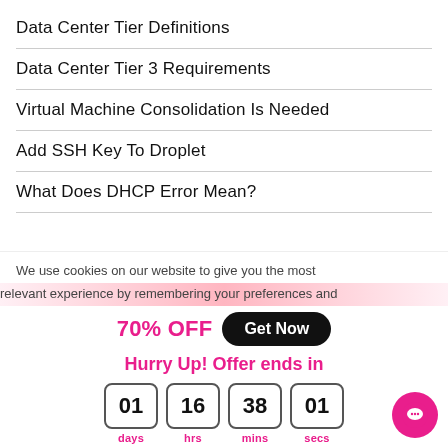Data Center Tier Definitions
Data Center Tier 3 Requirements
Virtual Machine Consolidation Is Needed
Add SSH Key To Droplet
What Does DHCP Error Mean?
We use cookies on our website to give you the most relevant experience by remembering your preferences and
70% OFF  Get Now
Hurry Up! Offer ends in
01 days  16 hrs  38 mins  01 secs